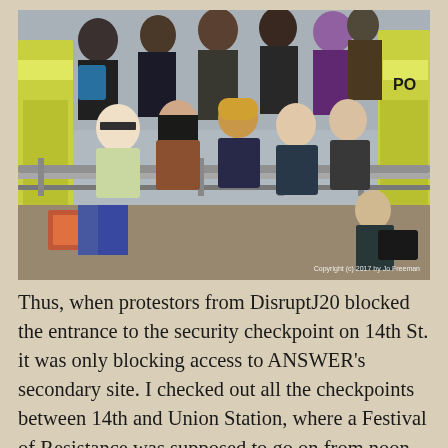[Figure (photo): Photograph of protestors from DisruptJ20 sitting on the ground near metal barriers, with police officers in high-visibility jackets visible in the background, along with a crowd of people. A copyright notice reads 'Copyright (c) 2017 by Jo Freeman'.]
Thus, when protestors from DisruptJ20 blocked the entrance to the security checkpoint on 14th St. it was only blocking access to ANSWER's secondary site. I checked out all the checkpoints between 14th and Union Station, where a Festival of Resistance was supposed to go on from noon to 5:00. A couple dozen protestors at